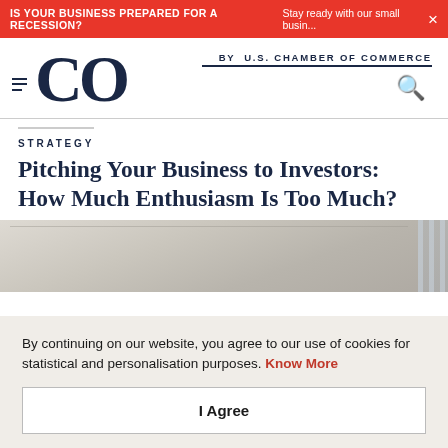IS YOUR BUSINESS PREPARED FOR A RECESSION? Stay ready with our small busin... ×
[Figure (logo): CO by U.S. Chamber of Commerce logo with hamburger menu and search icon]
STRATEGY
Pitching Your Business to Investors: How Much Enthusiasm Is Too Much?
[Figure (photo): Interior office or conference room photo, light and airy with ceiling and window visible]
By continuing on our website, you agree to our use of cookies for statistical and personalisation purposes. Know More
I Agree